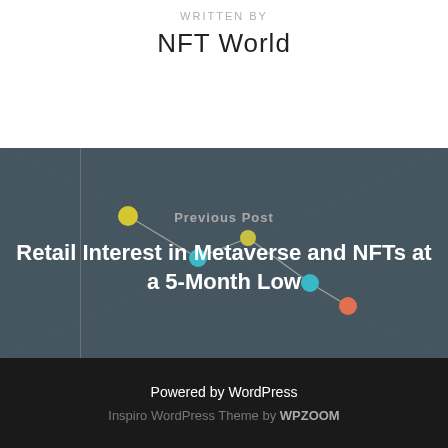WRITTEN BY
NFT World
Previous Post
Retail Interest in Metaverse and NFTs at a 5-Month Low
[Figure (photo): Dark grey background with colorful connected node diagram (yellow, blue, orange dots connected by lines), used as a decorative background for the Previous Post navigation block.]
Powered by WordPress
Inspiro WordPress Theme by WPZOOM